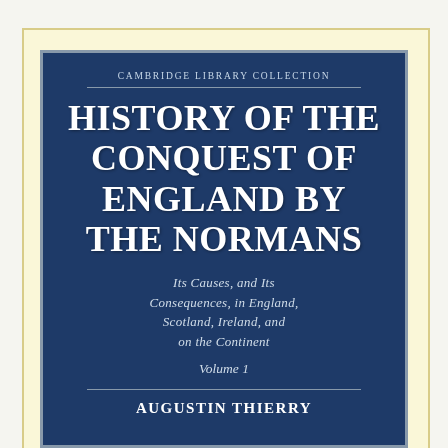[Figure (illustration): Book cover for 'History of the Conquest of England by the Normans, Volume 1' by Augustin Thierry, published as part of the Cambridge Library Collection. Dark blue cover with cream/yellow outer border. White bold title text, smaller italic subtitle text, and author name in uppercase at the bottom.]